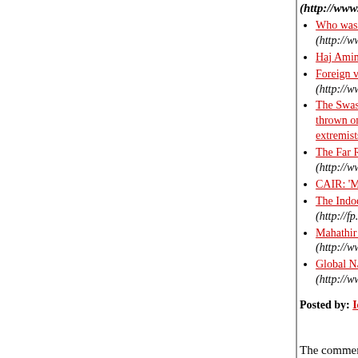(http://www.tellthechildrenthetruth.com...)
Who was the Grand Mufti, Haj Muhammed... (http://www.palestinefacts.org/pf_mandate...)
Haj Amin al-Hesseini (http://www.eretzyisra...)
Foreign volunteers in the German army du... (http://www.axishistory.com/index.php?id=...)
The Swastika and the Crescent: In the wa... thrown on the international ties increasingly... extremists (http://www.splcenter.org/intel/ir...)
The Far Right and Islamic Fundamentalists... (http://www.afrocubaweb.com/news/islamr...)
CAIR: 'Moderate' friends of terror (http://ww...)
The Indoctrination of Palestinian children -... (http://fp.thebeers.f9.co.uk/indoctrination.h...)
Mahathir attack on Jews condemned (http://www.cnn.com/2003/WORLD/asiapc...)
Global Nazism and the Muslim Brotherhoo... (http://www.azanderson.org/anderson_rep...)
Posted by: Iceman | October 06, 2004 at 10:33 PM
The comments to this entry are closed.